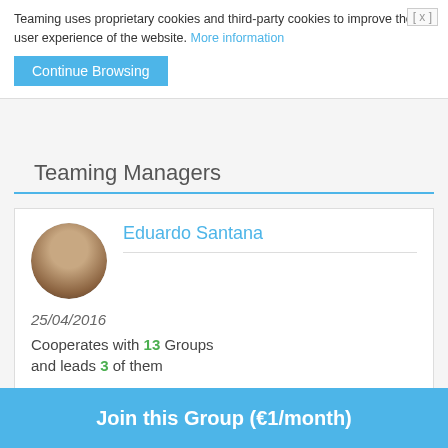Teaming uses proprietary cookies and third-party cookies to improve the user experience of the website. More information
Continue Browsing
Teaming Managers
Eduardo Santana
25/04/2016
Cooperates with 13 Groups and leads 3 of them
Elena Tova Ruiz
15/09/2012
Cooperates with 2 Groups
Join this Group (€1/month)